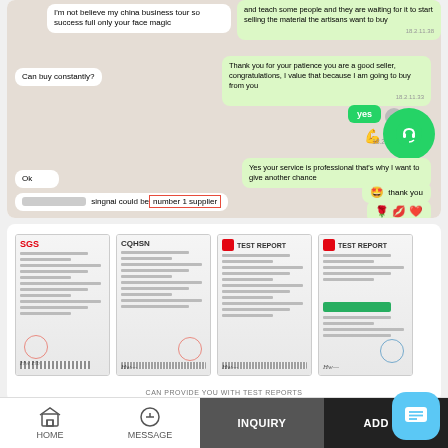[Figure (screenshot): WhatsApp chat screenshot showing conversation about being 'number 1 supplier', with messages about business visits, patience, professional service, and emoji reactions including thank you and flexing/heart emojis]
[Figure (screenshot): Four certification/test report documents displayed side by side: SGS certificate, CQHSN document, Test Report with red logo, and another test report with green bar. Caption reads 'CAN PROVIDE YOU WITH TEST REPORTS']
CAN PROVIDE YOU WITH TEST REPORTS
Application